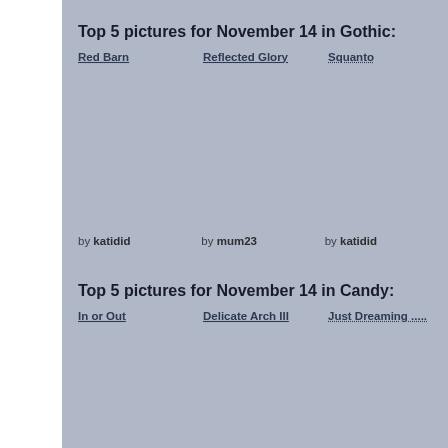Top 5 pictures for November 14 in Gothic:
Red Barn
Reflected Glory
Squanto
by katidid
by mum23
by katidid
Top 5 pictures for November 14 in Candy:
In or Out
Delicate Arch III
Just Dreaming .....